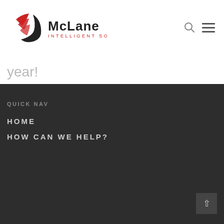[Figure (logo): McLane Intelligent Solutions logo with red and black swoosh graphic and company name text]
year!
QUICK NAV
HOME
HOW CAN WE HELP?